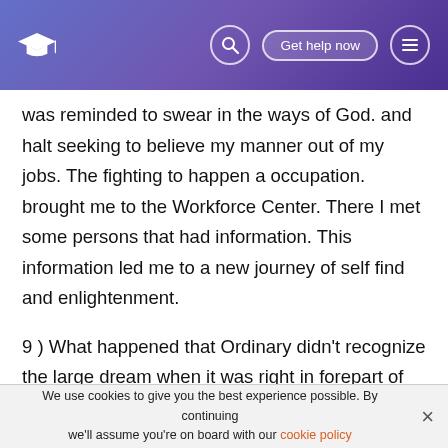Get help now
was reminded to swear in the ways of God. and halt seeking to believe my manner out of my jobs. The fighting to happen a occupation. brought me to the Workforce Center. There I met some persons that had information. This information led me to a new journey of self find and enlightenment.
9 ) What happened that Ordinary didn't recognize the large dream when it was right in forepart of him? The lovely metropolis he had imagined was non his Dream. but a image of what his Dream would carry through. The large Dream matches the large Needs of so many people. Therefore, Ordinary's Big Dream fulfills many people's
We use cookies to give you the best experience possible. By continuing we'll assume you're on board with our cookie policy